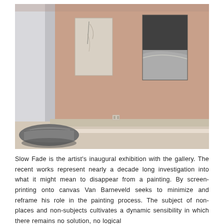[Figure (photo): Gallery interior photograph showing a salmon/peach-colored wall with two abstract artworks hung on it. The left artwork is a light-toned vertical canvas with faint abstract marks. The right artwork is a darker vertical canvas with contrasting black and grey tones. In the foreground lower left, there is a grey cushion or bag on the floor. The room has white walls on the left side and a light-colored floor.]
Slow Fade is the artist's inaugural exhibition with the gallery. The recent works represent nearly a decade long investigation into what it might mean to disappear from a painting. By screen-printing onto canvas Van Barneveld seeks to minimize and reframe his role in the painting process. The subject of non-places and non-subjects cultivates a dynamic sensibility in which there remains no solution, no logical